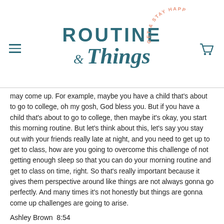[Figure (logo): Routine & Things logo with arc text 'GET & STAY HAPPY' in salmon/pink color around the top right of the logo. Logo text in teal/dark teal color.]
may come up. For example, maybe you have a child that's about to go to college, oh my gosh, God bless you. But if you have a child that's about to go to college, then maybe it's okay, you start this morning routine. But let's think about this, let's say you stay out with your friends really late at night, and you need to get up to get to class, how are you going to overcome this challenge of not getting enough sleep so that you can do your morning routine and get to class on time, right. So that's really important because it gives them perspective around like things are not always gonna go perfectly. And many times it's not honestly but things are gonna come up challenges are going to arise.
Ashley Brown 8:54